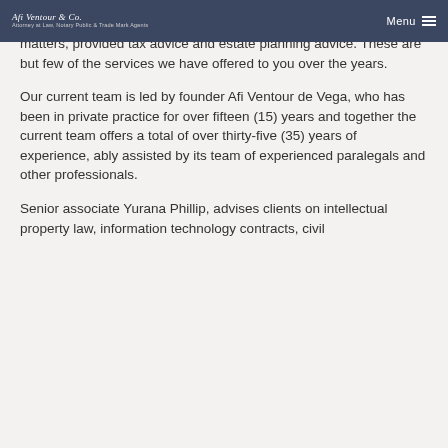Afi Ventour & Co. | Menu
matters, provided tax advice and estate planning advice. These are but few of the services we have offered to you over the years.
Our current team is led by founder Afi Ventour de Vega, who has been in private practice for over fifteen (15) years and together the current team offers a total of over thirty-five (35) years of experience, ably assisted by its team of experienced paralegals and other professionals.
Senior associate Yurana Phillip, advises clients on intellectual property law, information technology contracts, civil